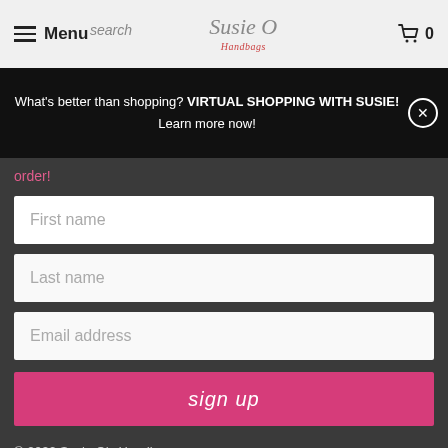Menu | Susie O's Handbags Logo | Cart 0
What's better than shopping? VIRTUAL SHOPPING WITH SUSIE! Learn more now!
order!
First name
Last name
Email address
sign up
© 2022 Susie O's Handbags.
[Figure (other): Payment method icons: AMEX, Apple Pay, Meta Pay, Google Pay, Mastercard]